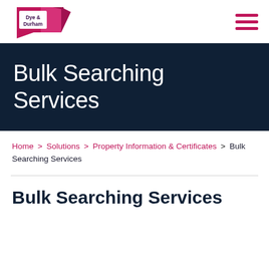[Figure (logo): Dye & Durham logo — pink speech-bubble book icon with company name in dark purple text]
Dye & Durham — navigation header with hamburger menu
Bulk Searching Services
Home > Solutions > Property Information & Certificates > Bulk Searching Services
Bulk Searching Services